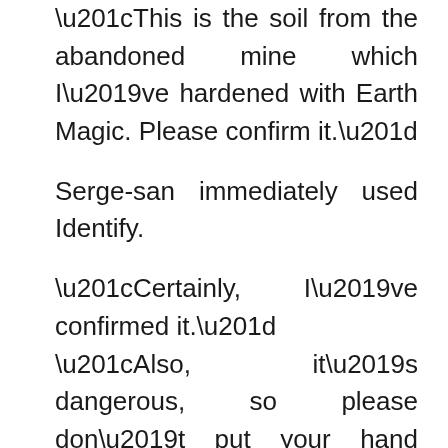“This is the soil from the abandoned mine which I’ve hardened with Earth Magic. Please confirm it.”
Serge-san immediately used Identify.
“Certainly, I’ve confirmed it.”
“Also, it’s dangerous, so please don’t put your hand inside the magic formation. With that, I will begin.”
Just like that time while I was in the mine, I allow the magic power to flow through into the formation. The formation started to glow, and the stone block had its color changed from to red to